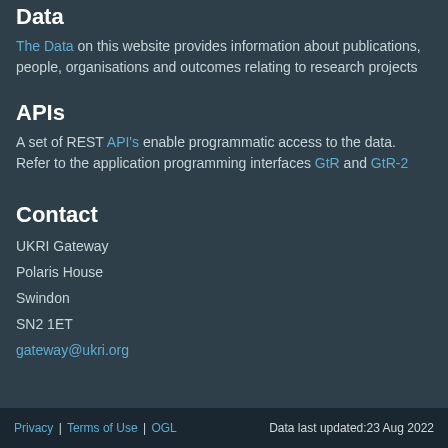Data
The Data on this website provides information about publications, people, organisations and outcomes relating to research projects
APIs
A set of REST API's enable programmatic access to the data. Refer to the application programming interfaces GtR and GtR-2
Contact
UKRI Gateway
Polaris House
Swindon
SN2 1ET
gateway@ukri.org
Privacy | Terms of Use | OGL  Data last updated:23 Aug 2022